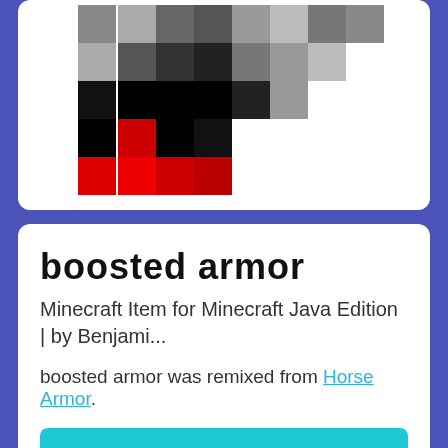[Figure (illustration): Pixelated Minecraft character/item image showing blocky pixels in black, gray, and red colors on white background]
boosted armor
Minecraft Item for Minecraft Java Edition | by Benjami...
boosted armor was remixed from Horse Armor.
REMIX ITEM
[Figure (illustration): Heart icon and eye icon in footer bar]